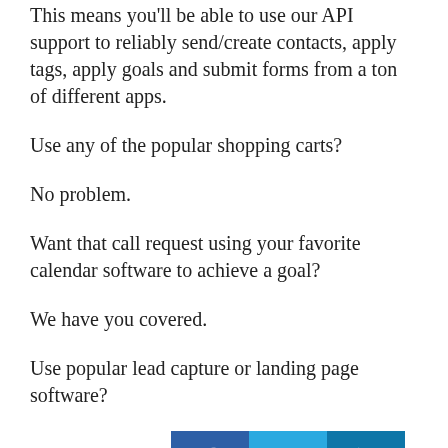This means you'll be able to use our API support to reliably send/create contacts, apply tags, apply goals and submit forms from a ton of different apps.
Use any of the popular shopping carts?
No problem.
Want that call request using your favorite calendar software to achieve a goal?
We have you covered.
Use popular lead capture or landing page software?
You're all good.